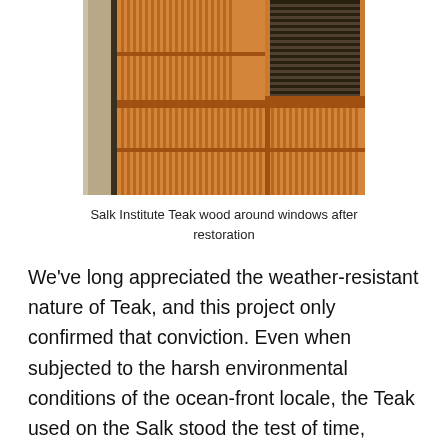[Figure (photo): Close-up photograph of teak wood panels around windows at the Salk Institute after restoration. The wood is warm golden-brown with vertical ribbed detailing and horizontal louvered ventilation sections.]
Salk Institute Teak wood around windows after restoration
We've long appreciated the weather-resistant nature of Teak, and this project only confirmed that conviction. Even when subjected to the harsh environmental conditions of the ocean-front locale, the Teak used on the Salk stood the test of time, lasting more than 5 decades! According to the intentions communicated in the restoration